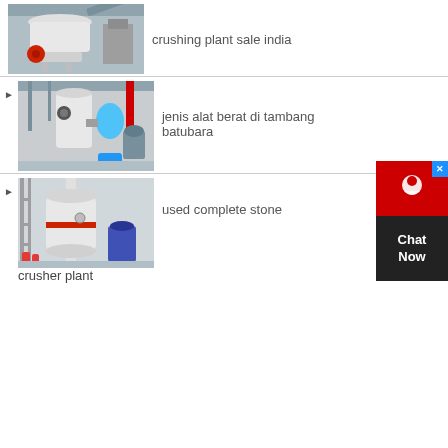[Figure (photo): Industrial cone crusher machine in a factory, white/grey equipment with red flywheel]
crushing plant sale india
[Figure (photo): Industrial grinding mill and blower equipment in a factory]
jenis alat berat di tambang batubara
[Figure (photo): Large vertical grinding/crushing machine in industrial setting]
used complete stone crusher plant